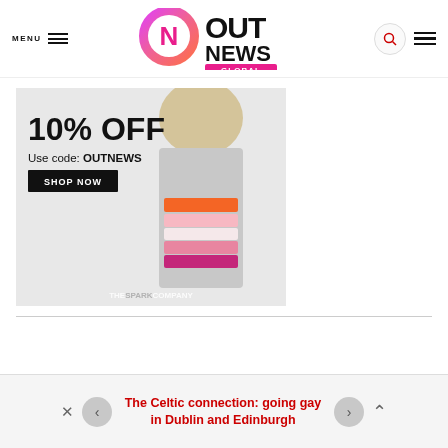MENU | OUT NEWS GLOBAL
[Figure (photo): Advertisement banner for The Spark Company showing a woman wearing a gray crop t-shirt with lesbian pride flag stripes (orange, pink, magenta). Text reads: 10% OFF, Use code: OUTNEWS, SHOP NOW. THESPARKCOMPANY watermark at bottom.]
The Celtic connection: going gay in Dublin and Edinburgh